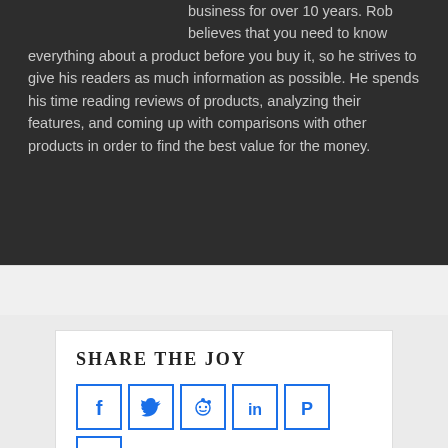business for over 10 years. Rob believes that you need to know everything about a product before you buy it, so he strives to give his readers as much information as possible. He spends his time reading reviews of products, analyzing their features, and coming up with comparisons with other products in order to find the best value for the money.
SHARE THE JOY
[Figure (infographic): Row of social media share buttons: Facebook, Twitter, Reddit, LinkedIn, Pinterest, Mix (with blue border outlines and icons)]